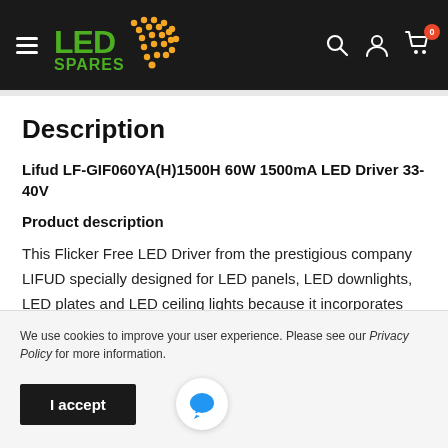[Figure (logo): LED Spares logo with green LED text and orange dot pattern on black header background, with hamburger menu icon on left and search, account, cart icons on right]
Description
Lifud LF-GIF060YA(H)1500H 60W 1500mA LED Driver 33-40V
Product description
This Flicker Free LED Driver from the prestigious company LIFUD specially designed for LED panels, LED downlights, LED plates and LED ceiling lights because it incorporates the Jack... A LED
We use cookies to improve your user experience. Please see our Privacy Policy for more information.